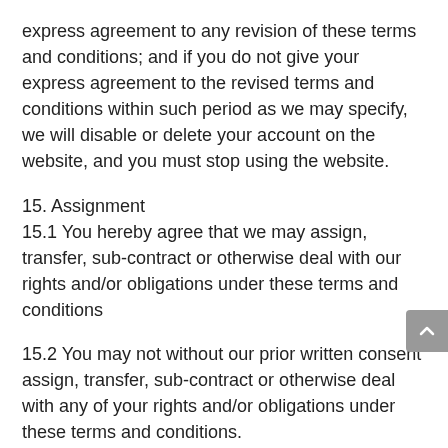express agreement to any revision of these terms and conditions; and if you do not give your express agreement to the revised terms and conditions within such period as we may specify, we will disable or delete your account on the website, and you must stop using the website.
15. Assignment
15.1 You hereby agree that we may assign, transfer, sub-contract or otherwise deal with our rights and/or obligations under these terms and conditions
15.2 You may not without our prior written consent assign, transfer, sub-contract or otherwise deal with any of your rights and/or obligations under these terms and conditions.